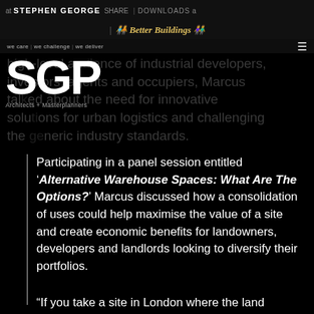at STEPHEN GEORGE SHARE | DOWNLOADS a
| 👨‍👩‍👧 Better Buildings 👨‍👩‍👦
we care | we challenge | we deliver
[Figure (logo): SGP logo — large white letters SGP with subtitle Architects + Masterplanners]
high-level audience of industrial developers, investors, agents and occupiers, Marcus talked about the need for innovative solutions for urban logistics and challenging the generic industry standards.
Participating in a panel session entitled 'Alternative Warehouse Spaces: What Are The Options?' Marcus discussed how a consolidation of uses could help maximise the value of a site and create economic benefits for landowners, developers and landlords looking to diversify their portfolios.
“If you take a site in London where the land